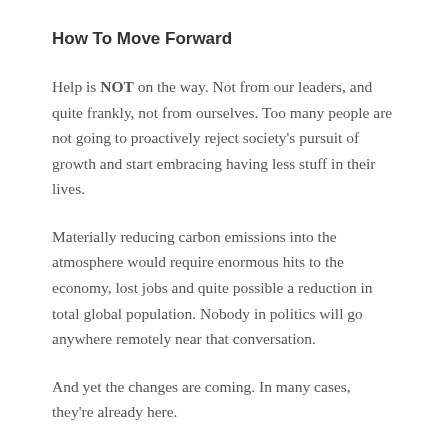How To Move Forward
Help is NOT on the way. Not from our leaders, and quite frankly, not from ourselves. Too many people are not going to proactively reject society's pursuit of growth and start embracing having less stuff in their lives.
Materially reducing carbon emissions into the atmosphere would require enormous hits to the economy, lost jobs and quite possible a reduction in total global population. Nobody in politics will go anywhere remotely near that conversation.
And yet the changes are coming. In many cases, they're already here.
As I type, Hurricane Florence is stalled at the